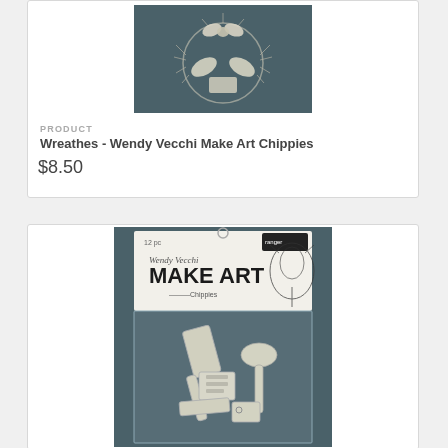[Figure (photo): Product photo of Wreathes - Wendy Vecchi Make Art Chippies showing cream/white chipboard wreath pieces with bows and leaves on dark teal packaging]
PRODUCT
Wreathes - Wendy Vecchi Make Art Chippies
$8.50
[Figure (photo): Product photo of kitchen/cooking themed Wendy Vecchi Make Art Chippies showing cream chipboard pieces including spoon, spatula, books/tags on dark packaging with Make Art branding and floral illustration]